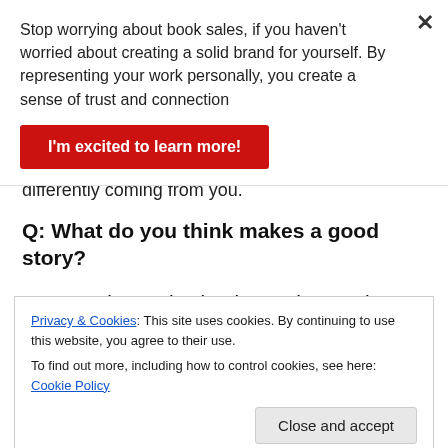Stop worrying about book sales, if you haven't worried about creating a solid brand for yourself. By representing your work personally, you create a sense of trust and connection
I'm excited to learn more!
differently coming from you.
Q: What do you think makes a good story?
A: A good story is simple, yet immersive. The characters must be relatable, and their plight must be familiar, as if
Privacy & Cookies: This site uses cookies. By continuing to use this website, you agree to their use.
To find out more, including how to control cookies, see here: Cookie Policy
Close and accept